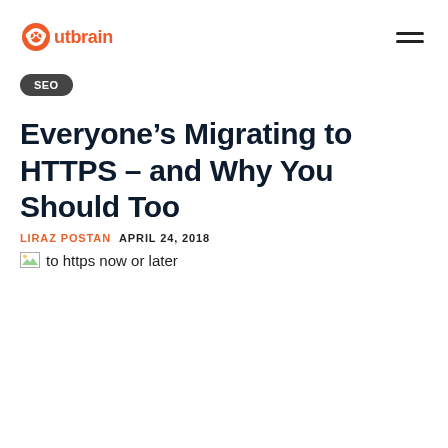Outbrain
SEO
Everyone’s Migrating to HTTPS – and Why You Should Too
LIRAZ POSTAN  APRIL 24, 2018
[Figure (photo): Broken image placeholder with alt text: to https now or later]